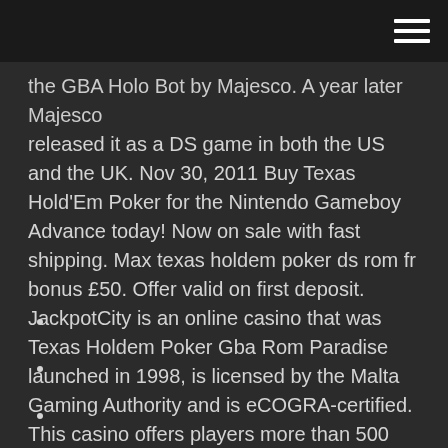[hamburger menu icon]
the GBA Holo Bot by Majesco. A year later Majesco released it as a DS game in both the US and the UK. Nov 30, 2011 Buy Texas Hold'Em Poker for the Nintendo Gameboy Advance today! Now on sale with fast shipping. Max texas holdem poker ds rom fr bonus £50. Offer valid on first deposit. JackpotCity is an online casino that was Texas Holdem Poker Gba Rom Paradise launched in 1998, is licensed by the Malta Gaming Authority and is eCOGRA-certified. This casino offers players more than 500 casino games, to be played online with safe and secure banking options